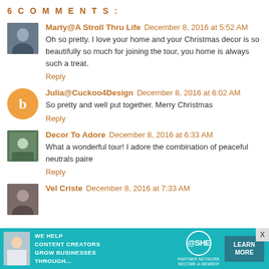6 COMMENTS:
Marty@A Stroll Thru Life  December 8, 2016 at 5:52 AM
Oh so pretty. I love your home and your Christmas decor is so beautifully so much for joining the tour, you home is always such a treat.
Reply
Julia@Cuckoo4Design  December 8, 2016 at 6:02 AM
So pretty and well put together. Merry Christmas
Reply
Decor To Adore  December 8, 2016 at 6:33 AM
What a wonderful tour! I adore the combination of peaceful neutrals paire
Reply
Vel Criste  December 8, 2016 at 7:33 AM
[Figure (infographic): SHE Partner Network advertisement banner: WE HELP CONTENT CREATORS GROW BUSINESSES THROUGH... with LEARN MORE button]